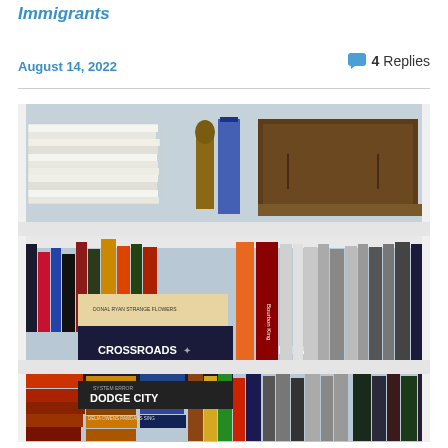Immigrants
August 14, 2022
4 Replies
[Figure (photo): Photo of a bookshelf with multiple shelves filled with books. Visible titles include 'Crossroads', 'Franzen', 'Strange Flowers' by Donal Ryan, 'Dodge City', 'System Error', 'Bourbon King', and others. Top shelf has stacked papers and a wooden box. Bottom shelf has more books stacked horizontally and vertically.]